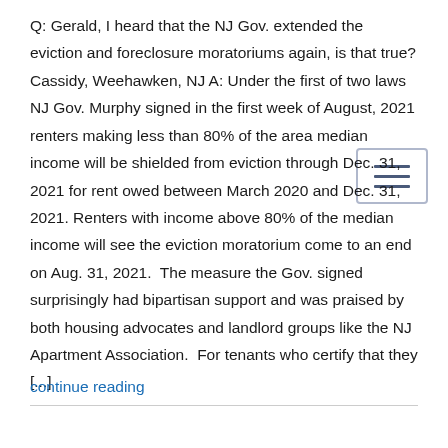Q: Gerald, I heard that the NJ Gov. extended the eviction and foreclosure moratoriums again, is that true? Cassidy, Weehawken, NJ A: Under the first of two laws NJ Gov. Murphy signed in the first week of August, 2021 renters making less than 80% of the area median income will be shielded from eviction through Dec. 31, 2021 for rent owed between March 2020 and Dec. 31, 2021. Renters with income above 80% of the median income will see the eviction moratorium come to an end on Aug. 31, 2021.  The measure the Gov. signed surprisingly had bipartisan support and was praised by both housing advocates and landlord groups like the NJ Apartment Association.  For tenants who certify that they [...]
continue reading